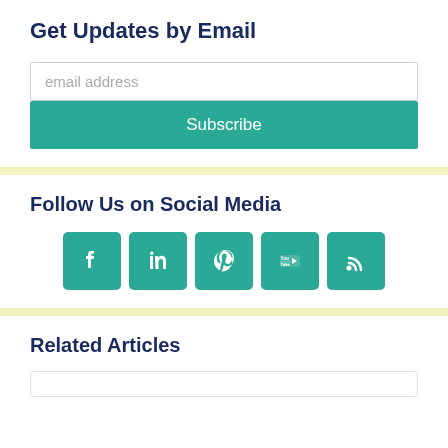Get Updates by Email
email address
Subscribe
Follow Us on Social Media
[Figure (infographic): Five social media icon buttons (Facebook, LinkedIn, Pinterest, YouTube, RSS) displayed as teal rounded squares with white icons]
Related Articles